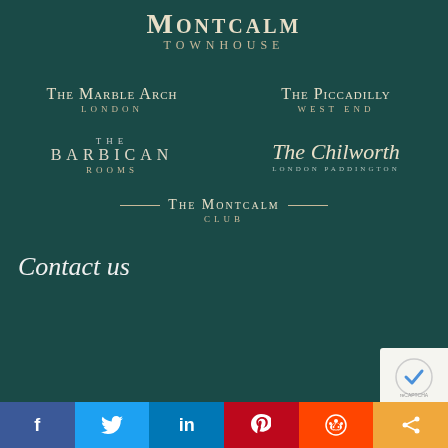Montcalm Townhouse
The Marble Arch London
The Piccadilly West End
The Barbican Rooms
The Chilworth London Paddington
The Montcalm Club
Contact us
[Figure (other): CAPTCHA widget (reCAPTCHA logo)]
f  (Twitter bird)  in  P  (Reddit alien)  (Share icon) — social media share bar